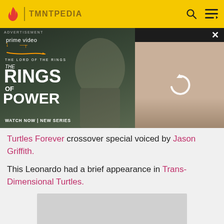TMNTPEDIA
[Figure (screenshot): Amazon Prime Video advertisement for The Lord of the Rings: The Rings of Power. Left side shows dark fantasy character in hooded cloak, with text 'prime video', 'THE LORD OF THE RINGS', 'THE RINGS OF POWER', 'WATCH NOW | NEW SERIES'. Right side shows a loading/refresh icon over a scene with blonde woman and other characters. Top left says ADVERTISEMENT, top right has close X button.]
Turtles Forever crossover special voiced by Jason Griffith.
This Leonardo had a brief appearance in Trans-Dimensional Turtles.
[Figure (other): Gray placeholder image rectangle]